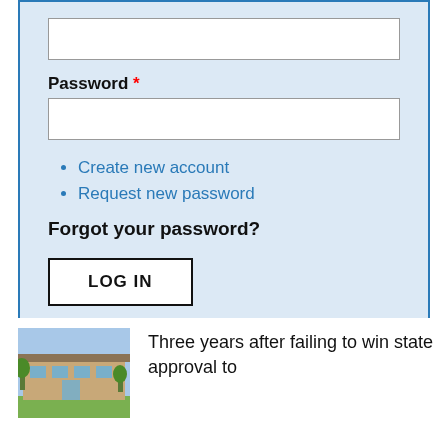Password *
Create new account
Request new password
Forgot your password?
LOG IN
[Figure (photo): Exterior photo of a modern single-story building with flat roof and landscaping]
Three years after failing to win state approval to